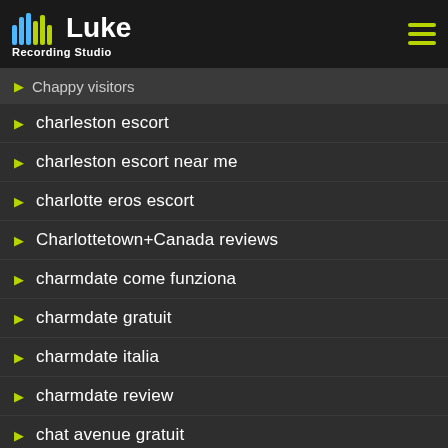Luke Recording Studio — escort service / Chappter escort index
Chappy visitors
charleston escort
charleston escort near me
charlotte eros escort
Charlottetown+Canada reviews
charmdate come funziona
charmdate gratuit
charmdate italia
charmdate review
chat avenue gratuit
chat hour espa?a
chat hour funziona